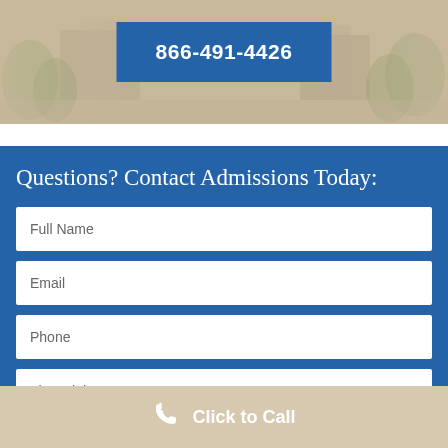[Figure (photo): Campus background photo with beige/tan tones showing buildings and greenery]
866-491-4426
Questions? Contact Admissions Today:
Full Name
Email
Phone
Financial
Click to Call